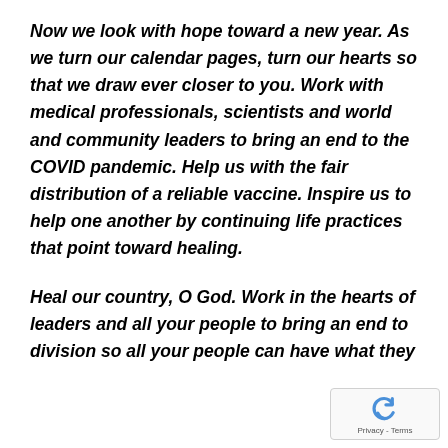Now we look with hope toward a new year. As we turn our calendar pages, turn our hearts so that we draw ever closer to you. Work with medical professionals, scientists and world and community leaders to bring an end to the COVID pandemic. Help us with the fair distribution of a reliable vaccine. Inspire us to help one another by continuing life practices that point toward healing.
Heal our country, O God. Work in the hearts of leaders and all your people to bring an end to division so all your people can have what they
[Figure (logo): reCAPTCHA badge with Google reCAPTCHA logo (blue arrow circle icon) and 'Privacy - Terms' text]